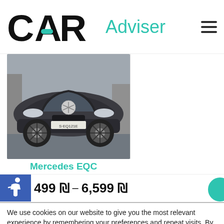[Figure (logo): CAR Adviser logo with teal accent dash and teal 'Adviser' text, hamburger menu icon top right]
[Figure (photo): Front view of a dark grey Mercedes EQC electric SUV on a road]
Mercedes EQC
499 ₪ – 6,599 ₪
We use cookies on our website to give you the most relevant experience by remembering your preferences and repeat visits. By clicking "Accept All", you consent to the use of ALL the cookies. However, you may visit "Cookie Settings" to provide a controlled consent.
Settings
Accept All